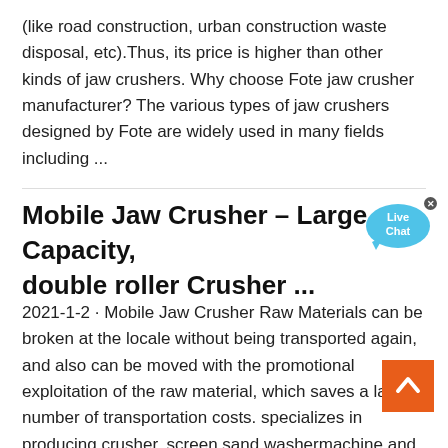(like road construction, urban construction waste disposal, etc).Thus, its price is higher than other kinds of jaw crushers. Why choose Fote jaw crusher manufacturer? The various types of jaw crushers designed by Fote are widely used in many fields including ...
Mobile Jaw Crusher – Large Capacity, double roller Crusher ...
2021-1-2 · Mobile Jaw Crusher Raw Materials can be broken at the locale without being transported again, and also can be moved with the promotional exploitation of the raw material, which saves a large number of transportation costs. specializes in producing crusher, screen,sand washermachine and other rock breaking and minerals processing equipment.
[Figure (other): Live Chat speech bubble icon in blue with text 'Live Chat']
[Figure (other): Orange back-to-top button with white upward chevron arrow]